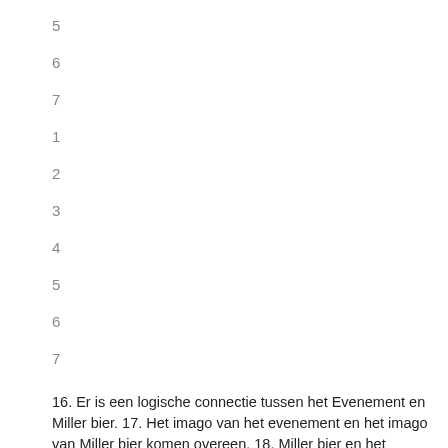5
6
7
1
2
3
4
5
6
7
16. Er is een logische connectie tussen het Evenement en Miller bier. 17. Het imago van het evenement en het imago van Miller bier komen overeen. 18. Miller bier en het evenement passen goed bij elkaar. 19. Ik kan niet begrijpen